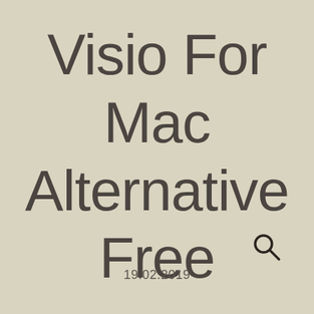Visio For Mac Alternative Free
[Figure (other): Search icon (magnifying glass)]
19.02.2019